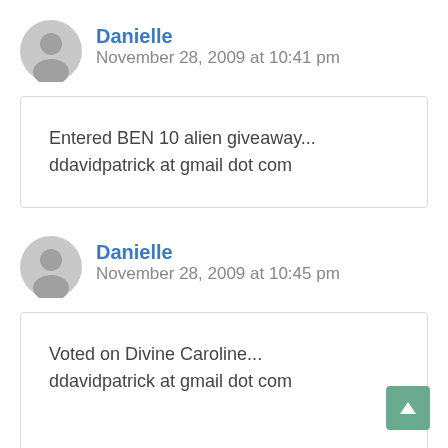Danielle
November 28, 2009 at 10:41 pm
Entered BEN 10 alien giveaway... ddavidpatrick at gmail dot com
Danielle
November 28, 2009 at 10:45 pm
Voted on Divine Caroline... ddavidpatrick at gmail dot com